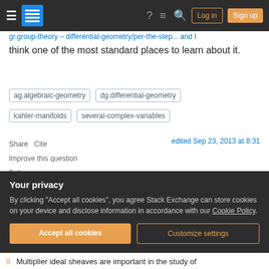Stack Exchange navigation bar with Log in and Sign up buttons
... and think one of the most standard places to learn about it.
ag.algebraic-geometry
dg.differential-geometry
kahler-manifolds
several-complex-variables
Share   Cite
Improve this question
Follow
edited Sep 23, 2013 at 8:31
asked Sep 23, 2013 at 8:26
Your privacy
By clicking "Accept all cookies", you agree Stack Exchange can store cookies on your device and disclose information in accordance with our Cookie Policy.
Accept all cookies   Customize settings
9   Multiplier ideal sheaves are important in the study of